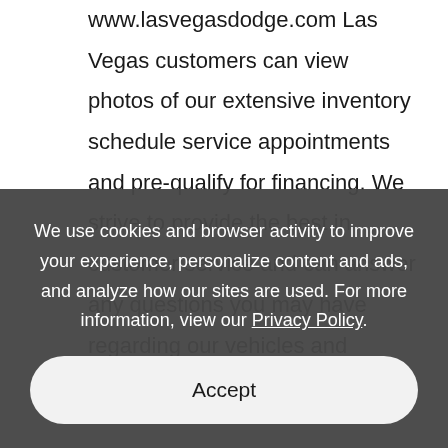www.lasvegasdodge.com Las Vegas customers can view photos of our extensive inventory schedule service appointments and pre-qualify for financing. We strive to provide the best in customer service and can answer any questions you may have regarding our vehicles and service center. Simply give
We use cookies and browser activity to improve your experience, personalize content and ads, and analyze how our sites are used. For more information, view our Privacy Policy.
Accept